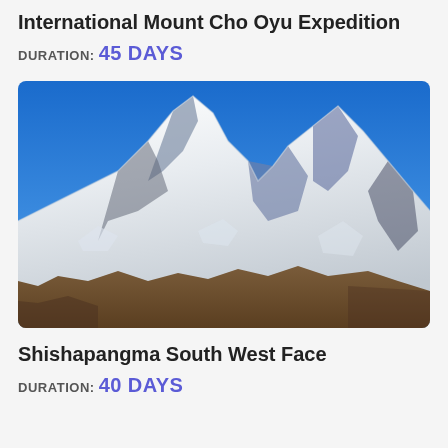International Mount Cho Oyu Expedition
DURATION: 45 DAYS
[Figure (photo): Snow-covered mountain (Shishapangma) with blue sky, viewed from a distance showing the southwest face with rocky lower slopes]
Shishapangma South West Face
DURATION: 40 DAYS